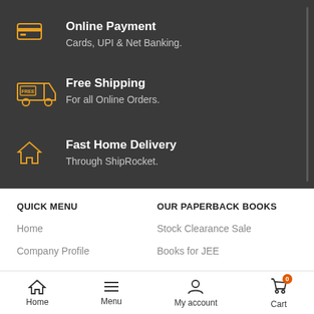Online Payment — Cards, UPI & Net Banking.
Free Shipping — For all Online Orders.
Fast Home Delivery — Through ShipRocket.
QUICK MENU
OUR PAPERBACK BOOKS
Home
Stock Clearance Sale
Company Profile
Books for JEE
Home  Menu  My account  Cart  0